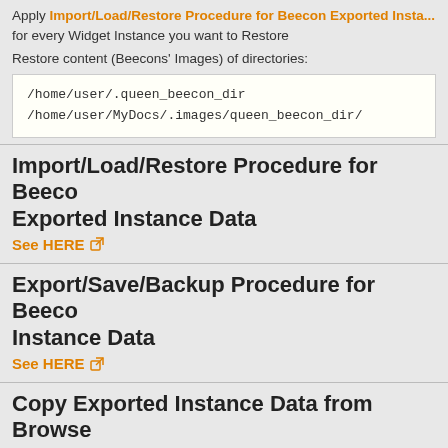Apply Import/Load/Restore Procedure for Beecon Exported Instance Data for every Widget Instance you want to Restore
Restore content (Beecons' Images) of directories:
/home/user/.queen_beecon_dir
/home/user/MyDocs/.images/queen_beecon_dir/
Import/Load/Restore Procedure for Beecon Exported Instance Data
See HERE
Export/Save/Backup Procedure for Beecon Instance Data
See HERE
Copy Exported Instance Data from Browser to Phone's Clipboard
See HERE